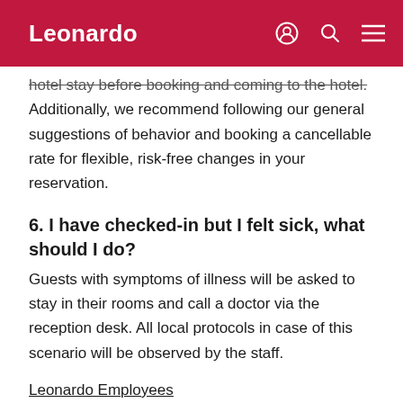Leonardo
hotel stay before booking and coming to the hotel. Additionally, we recommend following our general suggestions of behavior and booking a cancellable rate for flexible, risk-free changes in your reservation.
6. I have checked-in but I felt sick, what should I do?
Guests with symptoms of illness will be asked to stay in their rooms and call a doctor via the reception desk. All local protocols in case of this scenario will be observed by the staff.
Leonardo Employees
1. What are the actions taken by Leonardo Hotels' employees to minimize the risks?
Here at Leonardo Hotels we strictly follow the local health organisations to ensure that we always follow the